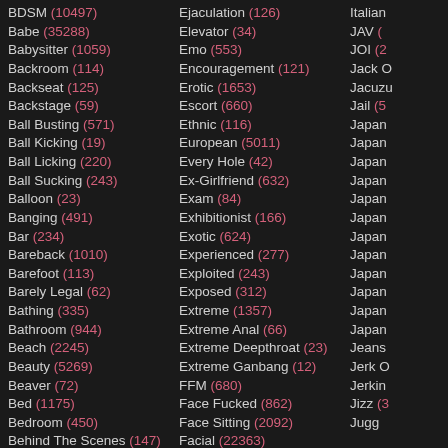BDSM (10497)
Babe (35288)
Babysitter (1059)
Backroom (114)
Backseat (125)
Backstage (59)
Ball Busting (571)
Ball Kicking (19)
Ball Licking (220)
Ball Sucking (243)
Balloon (23)
Banging (491)
Bar (234)
Bareback (1010)
Barefoot (113)
Barely Legal (62)
Bathing (335)
Bathroom (944)
Beach (2245)
Beauty (5269)
Beaver (72)
Bed (1175)
Bedroom (450)
Behind The Scenes (147)
Ejaculation (126)
Elevator (34)
Emo (553)
Encouragement (121)
Erotic (1653)
Escort (660)
Ethnic (116)
European (5011)
Every Hole (42)
Ex-Girlfriend (632)
Exam (84)
Exhibitionist (166)
Exotic (624)
Experienced (277)
Exploited (243)
Exposed (312)
Extreme (1357)
Extreme Anal (66)
Extreme Deepthroat (23)
Extreme Ganbang (12)
FFM (680)
Face Fucked (862)
Face Sitting (2092)
Facial (22363)
Italian
JAV (
JOI (2
Jack O
Jacuzi
Jail (5
Japan
Japan
Japan
Japan
Japan
Japan
Japan
Japan
Japan
Japan
Japan
Japan
Jeans
Jerk O
Jerkin
Jizz (3
Jugg